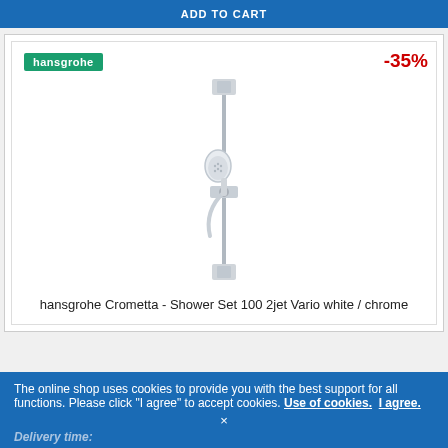ADD TO CART
[Figure (photo): Hansgrohe Crometta Shower Set 100 2jet Vario white/chrome - a vertical shower rail with handheld showerhead and sliding bracket]
-35%
hansgrohe
hansgrohe Crometta - Shower Set 100 2jet Vario white / chrome
The online shop uses cookies to provide you with the best support for all functions. Please click "I agree" to accept cookies. Use of cookies. I agree.
Delivery time: